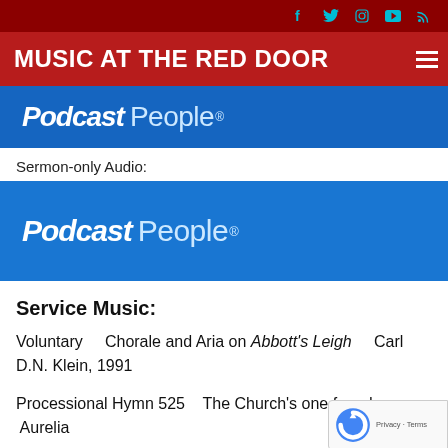MUSIC AT THE RED DOOR
[Figure (screenshot): Podcast People banner - blue background with white bold italic text 'Podcast People®']
Sermon-only Audio:
[Figure (screenshot): Podcast People banner - blue background with white bold italic text 'Podcast People®']
Service Music:
Voluntary    Chorale and Aria on Abbott's Leigh    Carl D.N. Klein, 1991
Processional Hymn 525   The Church's one founda…   Aurelia